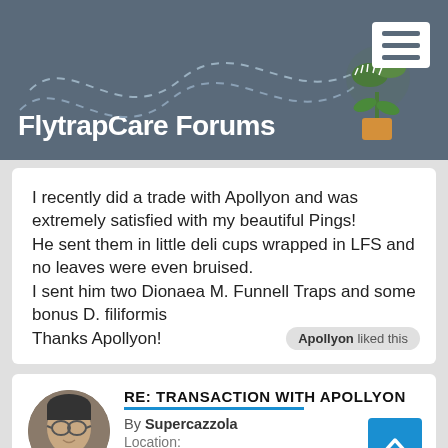FlytrapCare Forums
I recently did a trade with Apollyon and was extremely satisfied with my beautiful Pings! He sent them in little deli cups wrapped in LFS and no leaves were even bruised.
I sent him two Dionaea M. Funnell Traps and some bonus D. filiformis
Thanks Apollyon!
Apollyon liked this
RE: TRANSACTION WITH APOLLYON
By Supercazzola
Location:
Posts: 1179